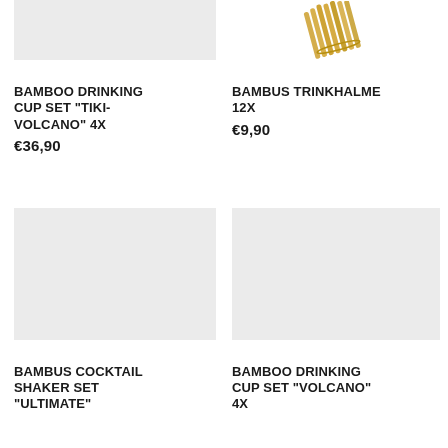[Figure (photo): Top-left product image placeholder (grey box) for Bamboo Drinking Cup Set Tiki-Volcano]
[Figure (photo): Top-right product image showing a bundle of bamboo drinking straws tied together]
BAMBOO DRINKING CUP SET "TIKI-VOLCANO" 4x
€36,90
BAMBUS TRINKHALME 12x
€9,90
[Figure (photo): Bottom-left product image placeholder (grey box) for Bambus Cocktail Shaker Set Ultimate]
[Figure (photo): Bottom-right product image placeholder (grey box) for Bamboo Drinking Cup Set Volcano]
BAMBUS COCKTAIL SHAKER SET "ULTIMATE"
BAMBOO DRINKING CUP SET "VOLCANO" 4x